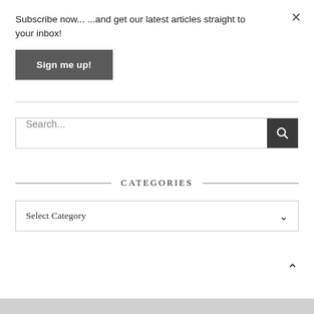Subscribe now... ...and get our latest articles straight to your inbox!
Sign me up!
Search...
CATEGORIES
Select Category